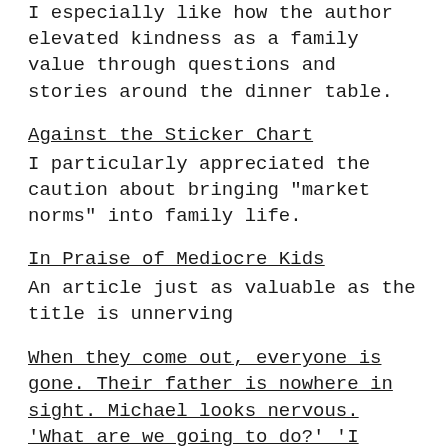I especially like how the author elevated kindness as a family value through questions and stories around the dinner table.
Against the Sticker Chart
I particularly appreciated the caution about bringing "market norms" into family life.
In Praise of Mediocre Kids
An article just as valuable as the title is unnerving
When they come out, everyone is gone. Their father is nowhere in sight. Michael looks nervous. 'What are we going to do?' 'I don't know.' They both begin to panic.